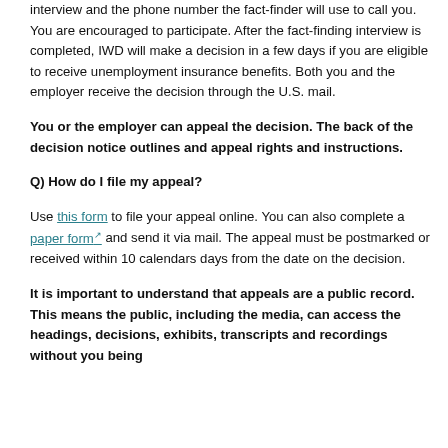interview and the phone number the fact-finder will use to call you. You are encouraged to participate. After the fact-finding interview is completed, IWD will make a decision in a few days if you are eligible to receive unemployment insurance benefits. Both you and the employer receive the decision through the U.S. mail.
You or the employer can appeal the decision. The back of the decision notice outlines and appeal rights and instructions.
Q) How do I file my appeal?
Use this form to file your appeal online. You can also complete a paper form and send it via mail. The appeal must be postmarked or received within 10 calendars days from the date on the decision.
It is important to understand that appeals are a public record. This means the public, including the media, can access the headings, decisions, exhibits, transcripts and recordings without you being